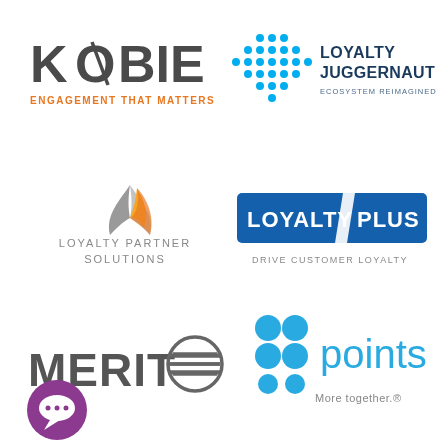[Figure (logo): Kobie logo - KOBIE in bold dark gray with orange tagline ENGAGEMENT THAT MATTERS]
[Figure (logo): Loyalty Juggernaut logo - diamond dot pattern icon with LOYALTY JUGGERNAUT text and ECOSYSTEM REIMAGINED tagline]
[Figure (logo): Loyalty Partner Solutions logo - abstract swoosh icon in orange/gray with text LOYALTY PARTNER SOLUTIONS]
[Figure (logo): LoyaltyPlus logo - blue banner with LOYALTY PLUS text and DRIVE CUSTOMER LOYALTY tagline]
[Figure (logo): Merito logo - MERIT with O replaced by a circle-striped icon]
[Figure (logo): Points logo - cyan dots arranged in grid with 'points' text and More together tagline]
[Figure (logo): Purple chat bubble icon with three dots]